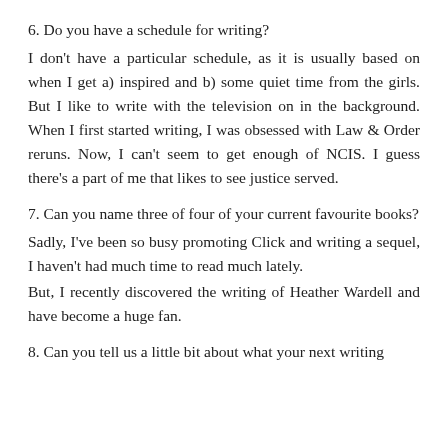6. Do you have a schedule for writing?
I don't have a particular schedule, as it is usually based on when I get a) inspired and b) some quiet time from the girls. But I like to write with the television on in the background. When I first started writing, I was obsessed with Law & Order reruns. Now, I can't seem to get enough of NCIS. I guess there's a part of me that likes to see justice served.
7. Can you name three of four of your current favourite books?
Sadly, I've been so busy promoting Click and writing a sequel, I haven't had much time to read much lately.
But, I recently discovered the writing of Heather Wardell and have become a huge fan.
8. Can you tell us a little bit about what your next writing